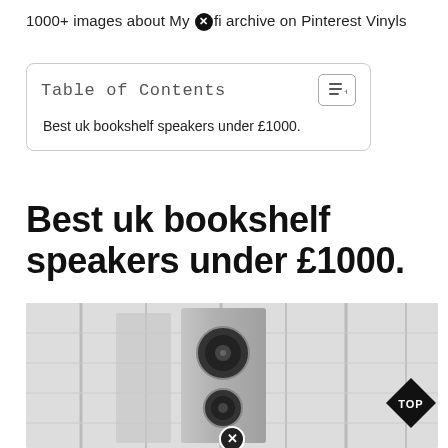1000+ images about My ☒fi archive on Pinterest Vinyls
| Table of Contents |
| --- |
| Best uk bookshelf speakers under £1000. |
Best uk bookshelf speakers under £1000.
[Figure (photo): Photo of a white/silver bookshelf speaker against a white background with horizontal blinds or panels. A black diamond-shaped 'TOP' badge appears in the bottom-right corner.]